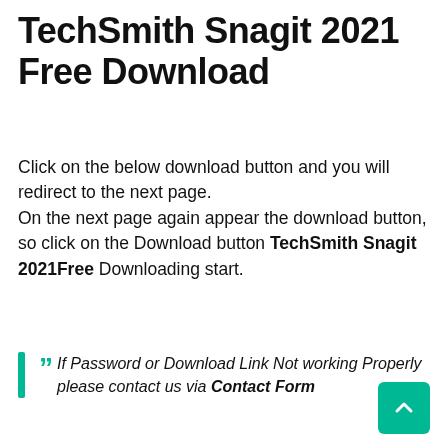TechSmith Snagit 2021 Free Download
Click on the below download button and you will redirect to the next page.
On the next page again appear the download button, so click on the Download button TechSmith Snagit 2021Free Downloading start.
If Password or Download Link Not working Properly please contact us via Contact Form
[Figure (other): Scroll-to-top button (teal/green rounded square with upward chevron arrow)]